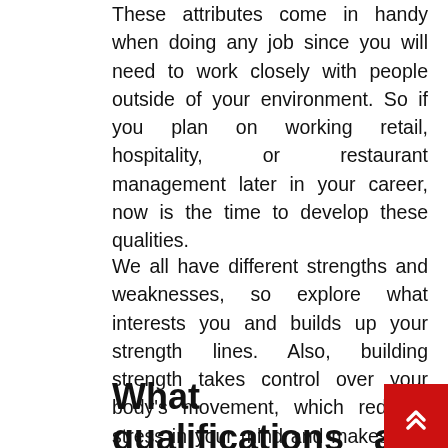These attributes come in handy when doing any job since you will need to work closely with people outside of your environment. So if you plan on working retail, hospitality, or restaurant management later in your career, now is the time to develop these qualities.
We all have different strengths and weaknesses, so explore what interests you and builds up your strength lines. Also, building strength takes control over your body's movement, which reduces stress in your mind and makes you feel happier.
What qualifications are needed to be a yoga teacher?